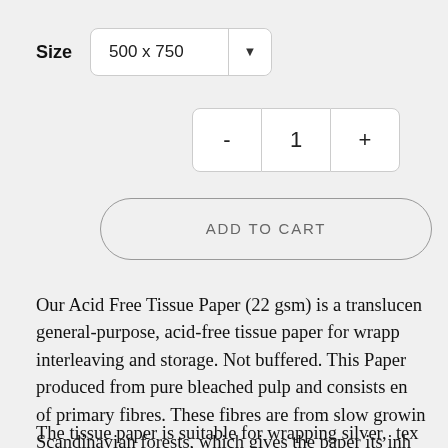Size
500 x 750
- 1 +
ADD TO CART
Our Acid Free Tissue Paper (22 gsm) is a translucent general-purpose, acid-free tissue paper for wrapping, interleaving and storage. Not buffered. This Paper is produced from pure bleached pulp and consists entirely of primary fibres. These fibres are from slow growing Scandinavian forests, which gives the paper its inherent strength.
The tissue paper is suitable for wrapping silver, tex…